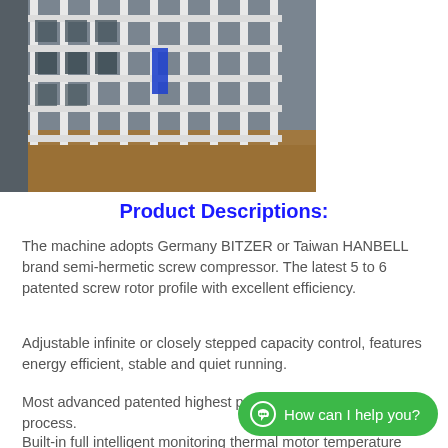[Figure (photo): Industrial refrigeration or HVAC equipment with white metal cage/rack structure in a factory or warehouse setting]
Product Descriptions:
The machine adopts Germany BITZER or Taiwan HANBELL brand semi-hermetic screw compressor. The latest 5 to 6 patented screw rotor profile with excellent efficiency.
Adjustable infinite or closely stepped capacity control, features energy efficient, stable and quiet running.
Most advanced patented highest precision manufacturing process.
Built-in full intelligent moni... thermal motor temperature monitoring, phase sequence